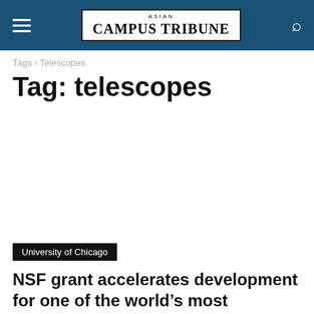ASIAN CAMPUS TRIBUNE
Tags › Telescopes
Tag: telescopes
University of Chicago
NSF grant accelerates development for one of the world's most powerful telescopes